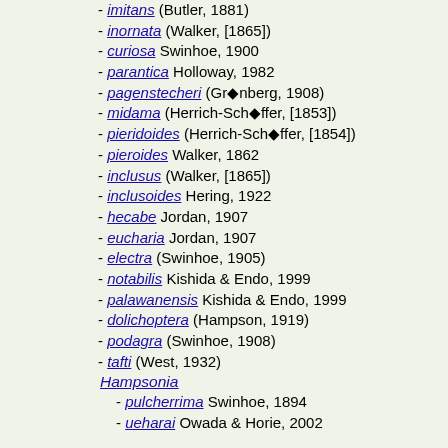- imitans (Butler, 1881)
- inornata (Walker, [1865])
- curiosa Swinhoe, 1900
- parantica Holloway, 1982
- pagenstecheri (Grönberg, 1908)
- midama (Herrich-Schöffer, [1853])
- pieridoides (Herrich-Schöffer, [1854])
- pieroides Walker, 1862
- inclusus (Walker, [1865])
- inclusoides Hering, 1922
- hecabe Jordan, 1907
- eucharia Jordan, 1907
- electra (Swinhoe, 1905)
- notabilis Kishida & Endo, 1999
- palawanensis Kishida & Endo, 1999
- dolichoptera (Hampson, 1919)
- podagra (Swinhoe, 1908)
- tafti (West, 1932)
Hampsonia
- pulcherrima Swinhoe, 1894
- ueharai Owada & Horie, 2002